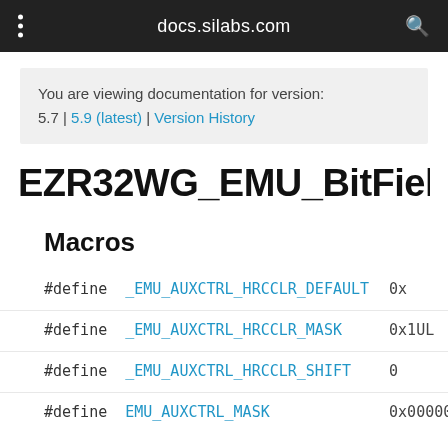docs.silabs.com
You are viewing documentation for version: 5.7 | 5.9 (latest) | Version History
EZR32WG_EMU_BitFieldsDevic
Macros
#define  _EMU_AUXCTRL_HRCCLR_DEFAULT  0x
#define  _EMU_AUXCTRL_HRCCLR_MASK  0x1UL
#define  _EMU_AUXCTRL_HRCCLR_SHIFT  0
#define  EMU_AUXCTRL_MASK  0x00000001U